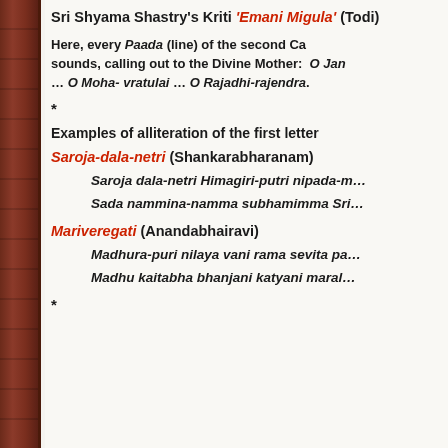Sri Shyama Shastry's Kriti 'Emani Migula' (Todi)
Here, every Paada (line) of the second Ca… sounds, calling out to the Divine Mother: O Jan… … O Moha- vratulai … O Rajadhi-rajendra.
*
Examples of alliteration of the first letter
Saroja-dala-netri (Shankarabharanam)
Saroja dala-netri Himagiri-putri nipada-m…
Sada nammina-namma subhamimma Sri…
Mariveregati (Anandabhairavi)
Madhura-puri nilaya vani rama sevita pa…
Madhu kaitabha bhanjani katyani maral…
*